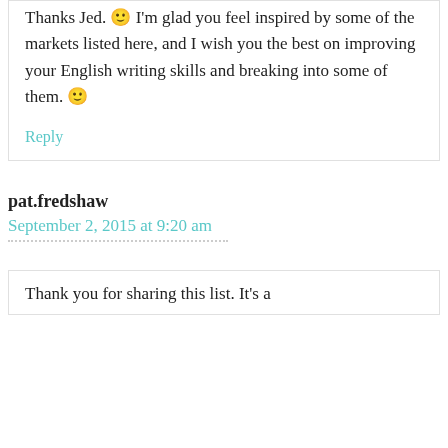Thanks Jed. 🙂 I'm glad you feel inspired by some of the markets listed here, and I wish you the best on improving your English writing skills and breaking into some of them. 🙂
Reply
pat.fredshaw
September 2, 2015 at 9:20 am
Thank you for sharing this list. It's a